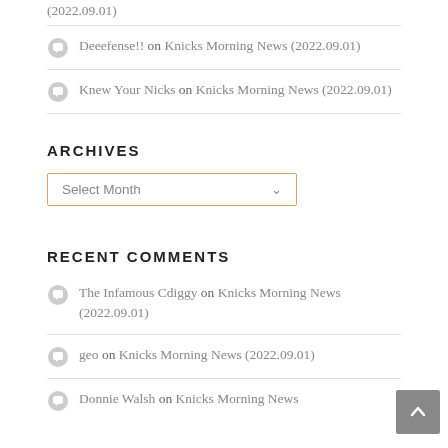(2022.09.01)
Deeefense!! on Knicks Morning News (2022.09.01)
Knew Your Nicks on Knicks Morning News (2022.09.01)
ARCHIVES
Select Month
RECENT COMMENTS
The Infamous Cdiggy on Knicks Morning News (2022.09.01)
geo on Knicks Morning News (2022.09.01)
Donnie Walsh on Knicks Morning News